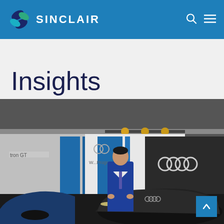SINCLAIR
Insights
[Figure (photo): A man in a blue suit standing in front of an Audi e-tron GT at what appears to be an Audi brand event. The Audi logo and signage with text 'tron GT', 'W...Progress' are visible in the background. A dark Audi car is prominently displayed in the foreground.]